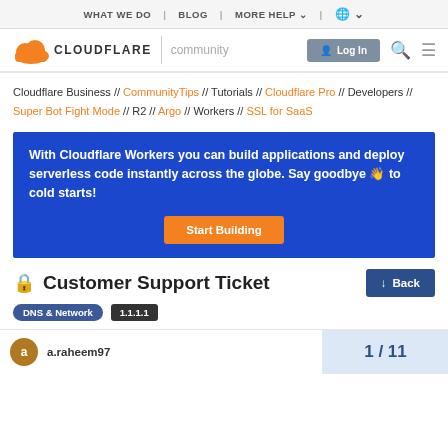WHAT WE DO | BLOG | MORE HELP | [globe icon]
[Figure (logo): Cloudflare community logo with orange cloud icon, CLOUDFLARE wordmark, community text, Log In button, search and menu icons]
Cloudflare Business // CommunityTips // Tutorials // Cloudflare Pro // Developers // Super Bot Fight Mode // R2 // Argo // Workers // SSL for SaaS
With Cloudflare Workers you can build applications and deploy serverless code instantly across the globe. Say goodbye 👋 to cold starts!
Start Building
🔒 Customer Support Ticket
DNS & Network   1.1.1.1
1 / 11
a.raheem97